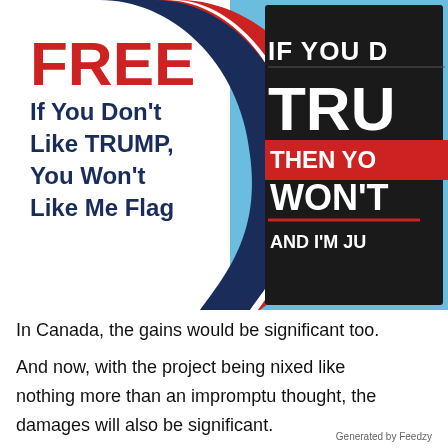[Figure (photo): Promotional image showing a decorative red, white, and blue swoosh graphic on the left with bold text reading 'FREE If You Don't Like TRUMP, You Won't Like Me Flag', and on the right a photo of a black flag with white and red text partially visible reading 'IF YOU D... TRU... THEN YO... WON'T... AND I'M JU...' against a blue sky background.]
In Canada, the gains would be significant too.
And now, with the project being nixed like nothing more than an impromptu thought, the damages will also be significant.
Generated by Feedzy